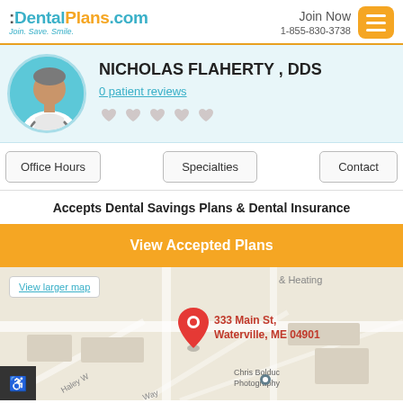DentalPlans.com | Join. Save. Smile. | Join Now 1-855-830-3738
NICHOLAS FLAHERTY , DDS
0 patient reviews
[Figure (illustration): Doctor avatar illustration in teal circle]
Office Hours | Specialties | Contact
Accepts Dental Savings Plans & Dental Insurance
View Accepted Plans
[Figure (map): Google map showing 333 Main St, Waterville, ME 04901 with a red location pin. View larger map link in upper left. Chris Bolduc Photography visible in lower right.]